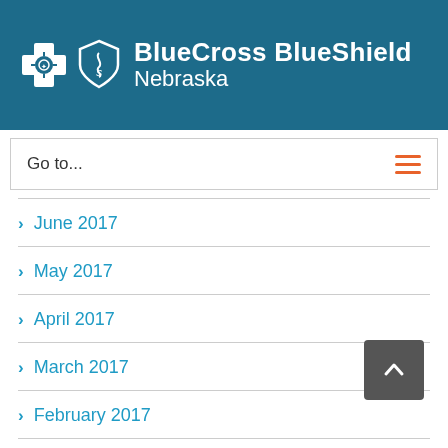[Figure (logo): BlueCross BlueShield Nebraska logo with cross and shield icons on teal background]
Go to...
June 2017
May 2017
April 2017
March 2017
February 2017
November 2016